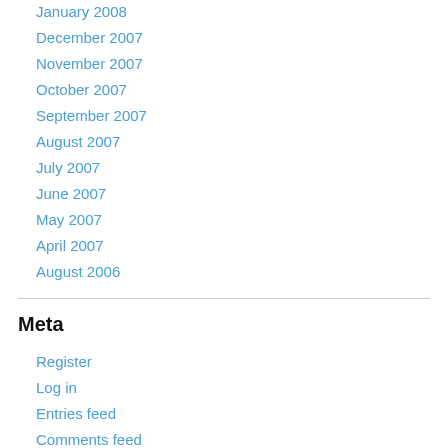January 2008
December 2007
November 2007
October 2007
September 2007
August 2007
July 2007
June 2007
May 2007
April 2007
August 2006
Meta
Register
Log in
Entries feed
Comments feed
WordPress.com